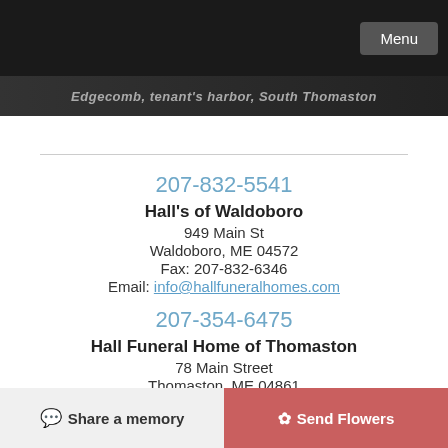Edgecomb, tenant's harbor, South Thomaston
207-832-5541
Hall's of Waldoboro
949 Main St
Waldoboro, ME 04572
Fax: 207-832-6346
Email: info@hallfuneralhomes.com
207-354-6475
Hall Funeral Home of Thomaston
78 Main Street
Thomaston, ME 04861
Fax: 207-354-9577
Email: thomaston@hallfuneralhomes.com
207-633-2171
Hall's of Boothbay
975 Wiscasset Road
Boothbay, ME 04537